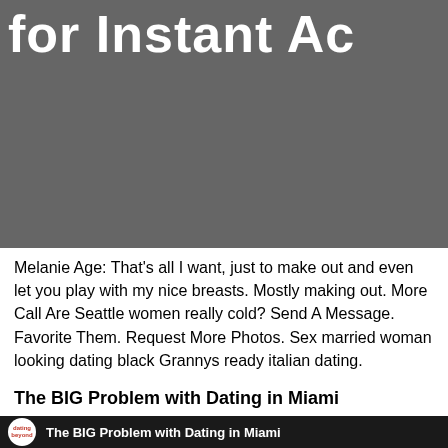[Figure (other): Dark grey banner image with large white bold text partially visible reading 'for Instant Ac' (cropped)]
Melanie Age: That's all I want, just to make out and even let you play with my nice breasts. Mostly making out. More Call Are Seattle women really cold? Send A Message. Favorite Them. Request More Photos. Sex married woman looking dating black Grannys ready italian dating.
The BIG Problem with Dating in Miami
[Figure (screenshot): Dark thumbnail image with a circular logo showing 'dating beyond' in red text, followed by white bold text reading 'The BIG Problem with Dating in Miami']